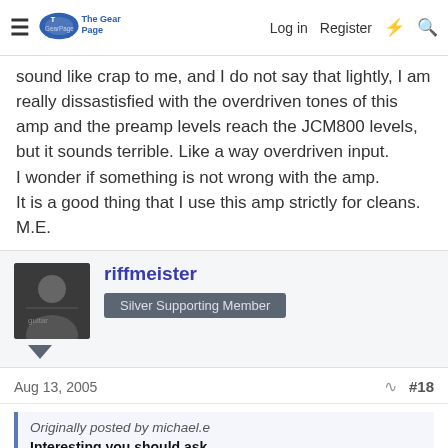The Gear Page | Log in | Register
sound like crap to me, and I do not say that lightly, I am really dissastisfied with the overdriven tones of this amp and the preamp levels reach the JCM800 levels, but it sounds terrible. Like a way overdriven input.
I wonder if something is not wrong with the amp.
It is a good thing that I use this amp strictly for cleans. M.E.
riffmeister
Silver Supporting Member
Aug 13, 2005    #18
Originally posted by michael.e
Interesting you should ask..........

I had not been able to dial out the non-musical distortion no matter what level the master is set at. I crank the amp master to full and start to kick up the pre's. The cleans sound BEAUTIFUL and I am really happy with that aspect of that amp. As soon as the amp hits